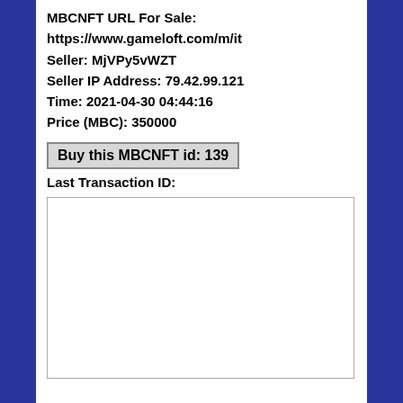MBCNFT URL For Sale:
https://www.gameloft.com/m/it
Seller: MjVPy5vWZT
Seller IP Address: 79.42.99.121
Time: 2021-04-30 04:44:16
Price (MBC): 350000
Buy this MBCNFT id: 139
Last Transaction ID:
[Figure (other): Empty white rectangle with gray border, likely a QR code or image placeholder]